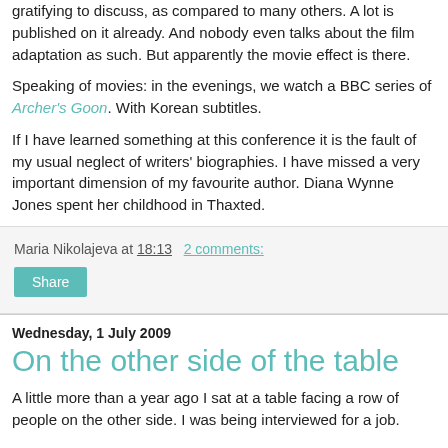gratifying to discuss, as compared to many others. A lot is published on it already. And nobody even talks about the film adaptation as such. But apparently the movie effect is there.
Speaking of movies: in the evenings, we watch a BBC series of Archer's Goon. With Korean subtitles.
If I have learned something at this conference it is the fault of my usual neglect of writers' biographies. I have missed a very important dimension of my favourite author. Diana Wynne Jones spent her childhood in Thaxted.
Maria Nikolajeva at 18:13   2 comments:
Share
Wednesday, 1 July 2009
On the other side of the table
A little more than a year ago I sat at a table facing a row of people on the other side. I was being interviewed for a job.